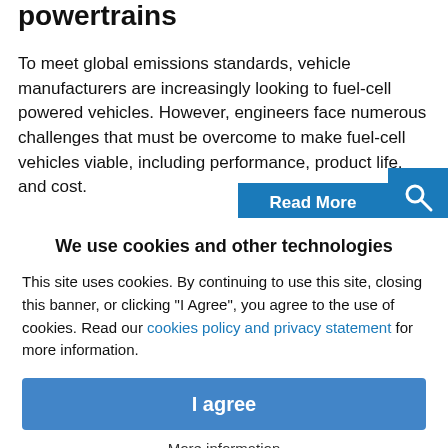powertrains
To meet global emissions standards, vehicle manufacturers are increasingly looking to fuel-cell powered vehicles. However, engineers face numerous challenges that must be overcome to make fuel-cell vehicles viable, including performance, product life, and cost.
Read More
We use cookies and other technologies
This site uses cookies. By continuing to use this site, closing this banner, or clicking "I Agree", you agree to the use of cookies. Read our cookies policy and privacy statement for more information.
I agree
More information